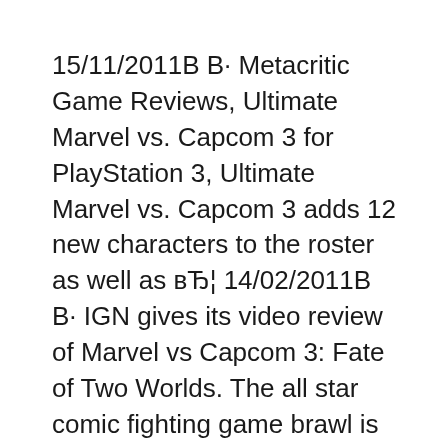15/11/2011В В· Metacritic Game Reviews, Ultimate Marvel vs. Capcom 3 for PlayStation 3, Ultimate Marvel vs. Capcom 3 adds 12 new characters to the roster as well as вЂ¦ 14/02/2011В В· IGN gives its video review of Marvel vs Capcom 3: Fate of Two Worlds. The all star comic fighting game brawl is here, but can it live up to its famous legacy?
Find helpful customer reviews and review ratings for Marvel vs. Capcom 3: Fate of Two Worlds: Special Edition - Playstation 3 at Amazon.com. Read honest and unbiased product reviews from our users. 15/02/2011В В· After a decade of anticipation, and a few long